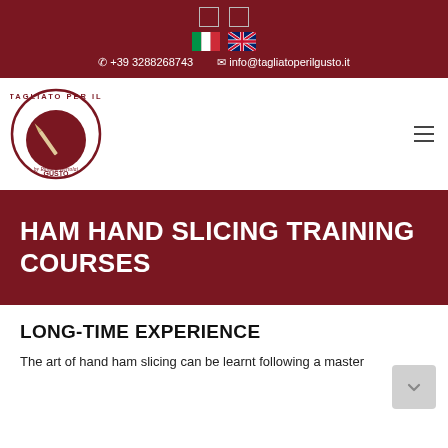☏ +39 3288268743  ✉ info@tagliatoperilgusto.it
[Figure (logo): Circular logo for Tagliato Per Il Gusto by Raffaele Bertolai, featuring a ham knife in the center with text around the border]
HAM HAND SLICING TRAINING COURSES
LONG-TIME EXPERIENCE
The art of hand ham slicing can be learnt following a master